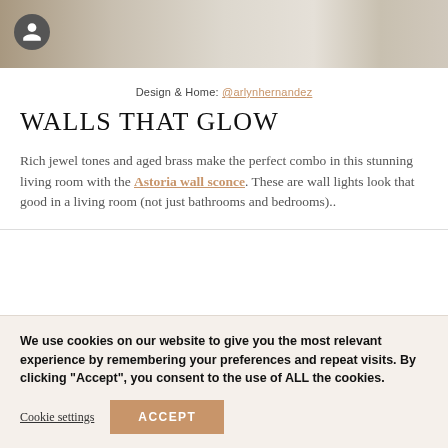[Figure (photo): Partial photo strip showing a room interior with wicker/rattan furniture and a light wood surface, with a dark circular avatar/profile icon in the top-left corner]
Design & Home: @arlynhernandez
WALLS THAT GLOW
Rich jewel tones and aged brass make the perfect combo in this stunning living room with the Astoria wall sconce. These are wall lights look that good in a living room (not just bathrooms and bedrooms)..
We use cookies on our website to give you the most relevant experience by remembering your preferences and repeat visits. By clicking “Accept”, you consent to the use of ALL the cookies.